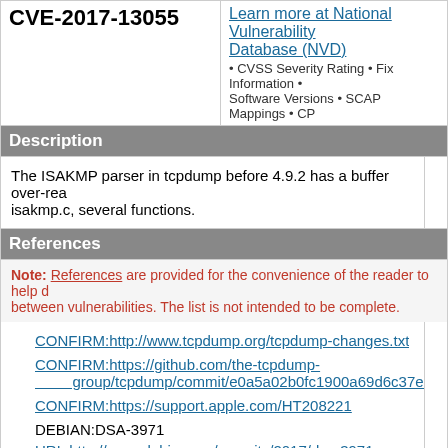CVE-2017-13055
Learn more at National Vulnerability Database (NVD) • CVSS Severity Rating • Fix Information • Software Versions • SCAP Mappings • CP
Description
The ISAKMP parser in tcpdump before 4.9.2 has a buffer over-read in isakmp.c, several functions.
References
Note: References are provided for the convenience of the reader to help distinguish between vulnerabilities. The list is not intended to be complete.
CONFIRM:http://www.tcpdump.org/tcpdump-changes.txt
CONFIRM:https://github.com/the-tcpdump-group/tcpdump/commit/e0a5a02b0fc1900a69d6c37ed0aab
CONFIRM:https://support.apple.com/HT208221
DEBIAN:DSA-3971
URL:http://www.debian.org/security/2017/dsa-3971
GENTOO:GLSA-201709-23
URL:https://security.gentoo.org/glsa/201709-23
REDHAT:RHEA-2018:0705
URL:https://access.redhat.com/errata/RHEA-2018:0705
SECTRACK:1039307
URL:http://www.securitytracker.com/id/1039307